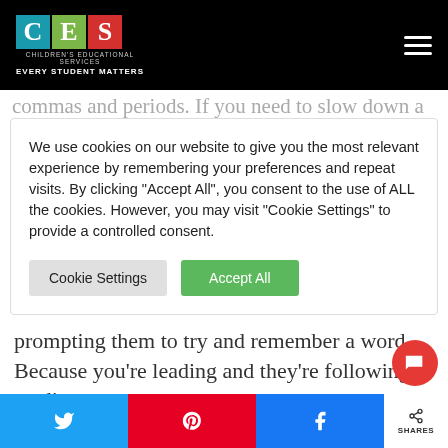CES Children's Educational Services — EVERY STUDENT MATTERS
commas and periods. If you need to slow down a bit
We use cookies on our website to give you the most relevant experience by remembering your preferences and repeat visits. By clicking "Accept All", you consent to the use of ALL the cookies. However, you may visit "Cookie Settings" to provide a controlled consent.
prompting them to try and remember a word. Because you're leading and they're following, reading becomes a learning process and not a test. It
Share buttons: Twitter, Pinterest, Facebook — SHARES